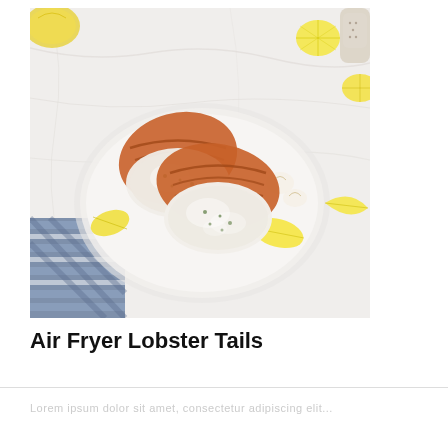[Figure (photo): Two air fryer lobster tails with golden-brown shells and cooked white meat, served on a round white plate with lemon wedges and garlic cloves, set on a marble surface with a blue and white striped cloth napkin. Additional lemons and a jar visible in the background.]
Air Fryer Lobster Tails